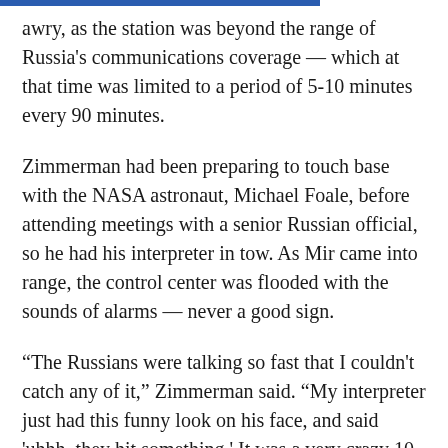awry, as the station was beyond the range of Russia's communications coverage — which at that time was limited to a period of 5-10 minutes every 90 minutes.
Zimmerman had been preparing to touch base with the NASA astronaut, Michael Foale, before attending meetings with a senior Russian official, so he had his interpreter in tow. As Mir came into range, the control center was flooded with the sounds of alarms — never a good sign.
“The Russians were talking so fast that I couldn't catch any of it,” Zimmerman said. “My interpreter just had this funny look on his face, and said 'uhhh, they hit something.' It was a very crazy 10 minute